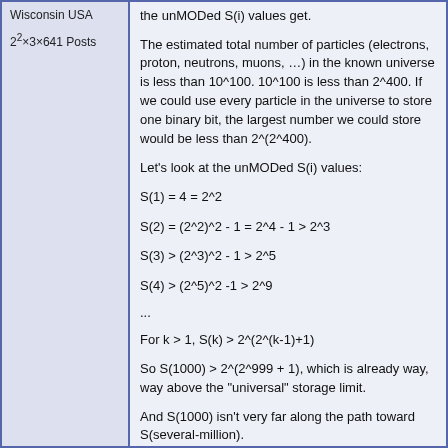Wisconsin USA
2²×3×641 Posts
the unMODed S(i) values get.
The estimated total number of particles (electrons, proton, neutrons, muons, …) in the known universe is less than 10^100. 10^100 is less than 2^400. If we could use every particle in the universe to store one binary bit, the largest number we could store would be less than 2^(2^400).
Let's look at the unMODed S(i) values:
...
So S(1000) > 2^(2^999 + 1), which is already way, way above the "universal" storage limit.
And S(1000) isn't very far along the path toward S(several-million).